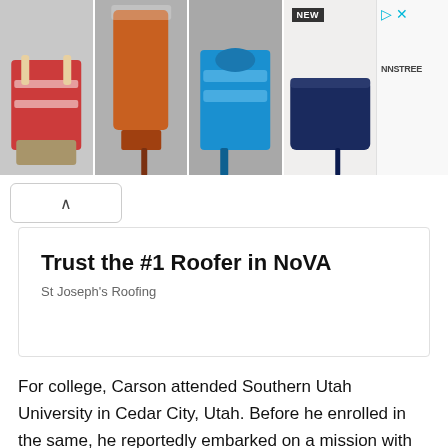[Figure (photo): Advertisement banner showing four pairs of women's shoes/heels in different styles and colors: red strappy sandals, orange suede ankle boots, blue open-toe heeled sandals, and navy blue stiletto pumps. A 'NEW' badge is visible on the fourth shoe. Right panel shows an arrow icon and 'NNSTREE' logo text.]
[Figure (screenshot): Collapse/minimize button with an upward caret (^) arrow inside a rounded rectangle button.]
[Figure (infographic): Advertisement card with large bold text 'Trust the #1 Roofer in NoVA' and subtitle 'St Joseph's Roofing']
For college, Carson attended Southern Utah University in Cedar City, Utah. Before he enrolled in the same, he reportedly embarked on a mission with the Church of Jesus Christ of Latter-day Saints. ↑